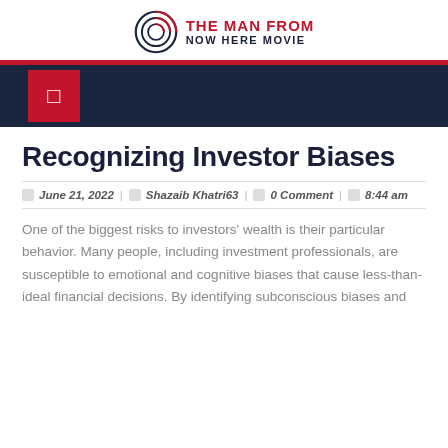THE MAN FROM NOW HERE MOVIE
Recognizing Investor Biases
□ June 21, 2022 | □ Shazaib Khatri63 | □ 0 Comment | □ 8:44 am
One of the biggest risks to investors' wealth is their particular behavior. Many people, including investment professionals, are susceptible to emotional and cognitive biases that cause less-than-ideal financial decisions. By identifying subconscious biases and